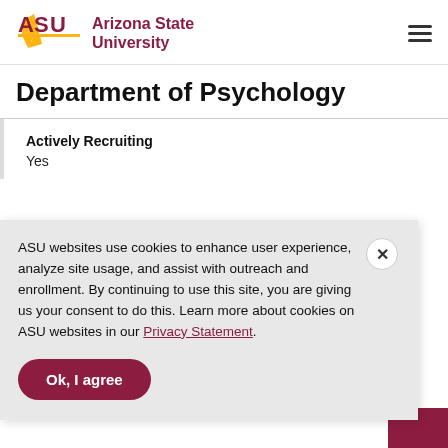[Figure (logo): Arizona State University logo with ASU text in maroon and gold sunburst icon, followed by 'Arizona State University' text in maroon]
Department of Psychology
Actively Recruiting
Yes
ASU websites use cookies to enhance user experience, analyze site usage, and assist with outreach and enrollment. By continuing to use this site, you are giving us your consent to do this. Learn more about cookies on ASU websites in our Privacy Statement.
Ok, I agree